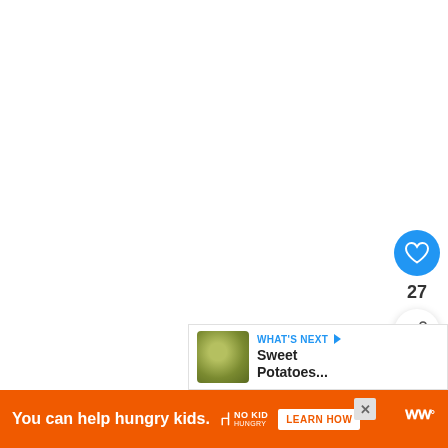[Figure (screenshot): White/blank main content area of a webpage]
[Figure (infographic): Heart/like button (blue circle with white heart icon), count of 27, and share button (white circle with share icon) on the right sidebar]
[Figure (infographic): What's Next panel with thumbnail image of food (Sweet Potatoes...) and blue WHAT'S NEXT arrow label]
[Figure (infographic): Orange advertisement banner: 'You can help hungry kids.' with No Kid Hungry logo and LEARN HOW button, close X button, and WW logo on right]